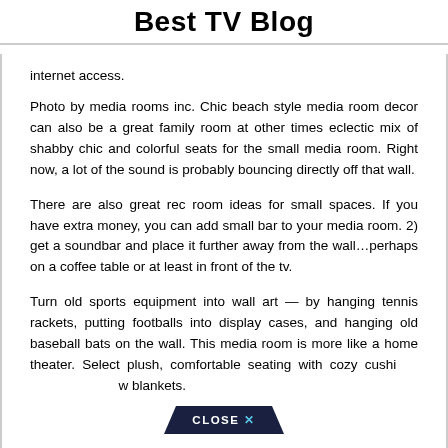Best TV Blog
internet access.
Photo by media rooms inc. Chic beach style media room decor can also be a great family room at other times eclectic mix of shabby chic and colorful seats for the small media room. Right now, a lot of the sound is probably bouncing directly off that wall.
There are also great rec room ideas for small spaces. If you have extra money, you can add small bar to your media room. 2) get a soundbar and place it further away from the wall…perhaps on a coffee table or at least in front of the tv.
Turn old sports equipment into wall art — by hanging tennis rackets, putting footballs into display cases, and hanging old baseball bats on the wall. This media room is more like a home theater. Select plush, comfortable seating with cozy cushi... ...w blankets.